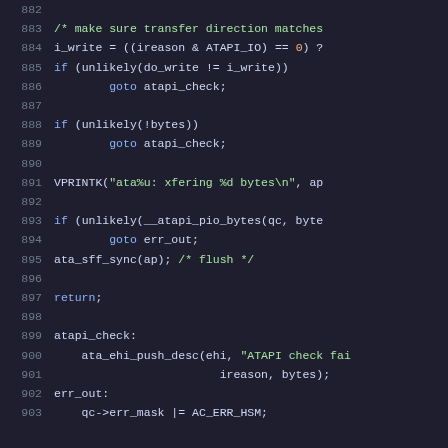Source code listing lines 882-903, C kernel code for ATAPI transfer direction check and error handling
882 (blank)
883     /* make sure transfer direction matches
884     i_write = ((ireason & ATAPI_IO) == 0) ?
885     if (unlikely(do_write != i_write))
886             goto atapi_check;
887 (blank)
888     if (unlikely(!bytes))
889             goto atapi_check;
890 (blank)
891     VPRINTK("ata%u: xfering %d bytes\n", ap
892 (blank)
893     if (unlikely(__atapi_pio_bytes(qc, byte
894             goto err_out;
895     ata_sff_sync(ap); /* flush */
896 (blank)
897     return;
898 (blank)
899 atapi_check:
900         ata_ehi_push_desc(ehi, "ATAPI check fai
901                             ireason, bytes);
902 err_out:
903     qc->err_mask |= AC_ERR_HSM;